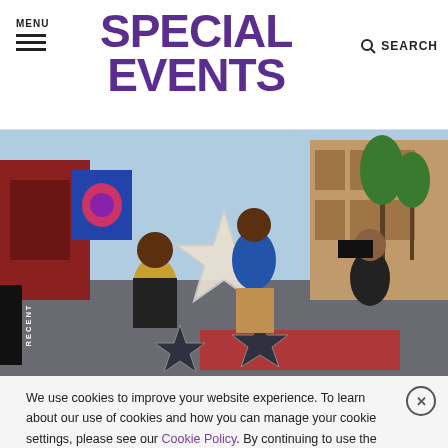MENU | SPECIAL EVENTS | SEARCH
[Figure (photo): People posing with a large star prop on the Hollywood Walk of Fame, with a photographer shooting them. Urban street scene with buildings and palm trees in background. A vertical tab on the left side reads 'RECENT'.]
We use cookies to improve your website experience. To learn about our use of cookies and how you can manage your cookie settings, please see our Cookie Policy. By continuing to use the website, you consent to our use of cookies.